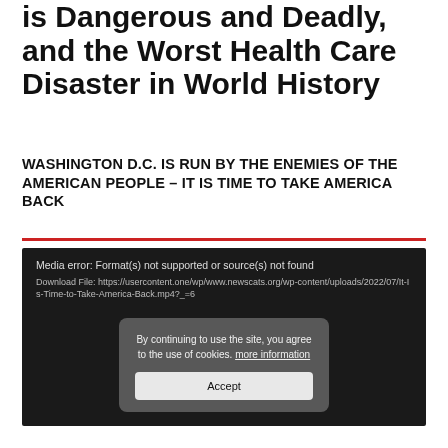is Dangerous and Deadly, and the Worst Health Care Disaster in World History
WASHINGTON D.C. IS RUN BY THE ENEMIES OF THE AMERICAN PEOPLE – IT IS TIME TO TAKE AMERICA BACK
[Figure (screenshot): Video player showing media error: Format(s) not supported or source(s) not found. Download File URL shown. A cookie consent overlay in center reads 'By continuing to use the site, you agree to the use of cookies. more information' with an Accept button.]